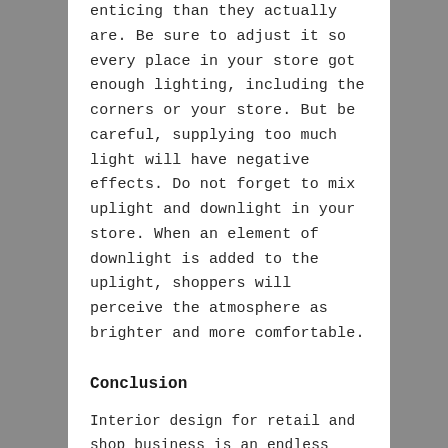enticing than they actually are. Be sure to adjust it so every place in your store got enough lighting, including the corners or your store. But be careful, supplying too much light will have negative effects. Do not forget to mix uplight and downlight in your store. When an element of downlight is added to the uplight, shoppers will perceive the atmosphere as brighter and more comfortable.
Conclusion
Interior design for retail and shop business is an endless process. Every person has their own likes and dislikes, so there is no template for interior